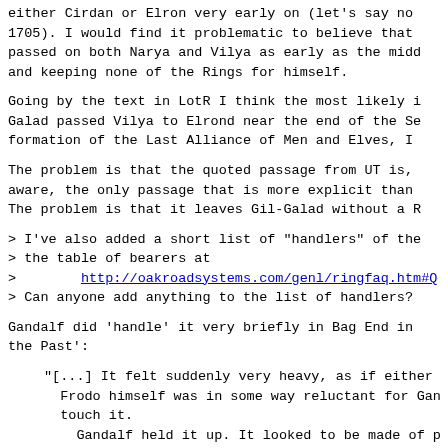either Cirdan or Elron very early on (let's say no 1705). I would find it problematic to believe that passed on both Narya and Vilya as early as the midd and keeping none of the Rings for himself.
Going by the text in LotR I think the most likely i Galad passed Vilya to Elrond near the end of the Se formation of the Last Alliance of Men and Elves, I
The problem is that the quoted passage from UT is, aware, the only passage that is more explicit than The problem is that it leaves Gil-Galad without a R
> I've also added a short list of "handlers" of the
> the table of bearers at
>        http://oakroadsystems.com/genl/ringfaq.htm#Q
> Can anyone add anything to the list of handlers?
Gandalf did 'handle' it very briefly in Bag End in the Past':
"[...] It felt suddenly very heavy, as if either Frodo himself was in some way reluctant for Gan touch it.
  Gandalf held it up. It looked to be made of p solid gold. 'Can you see any markings on it?' h [...]
 For a moment the wizard stood looking at the fi